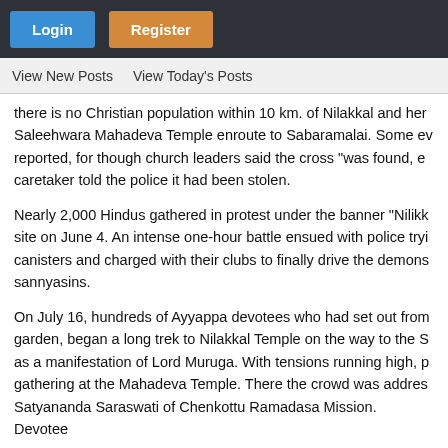Login | Register
View New Posts   View Today's Posts
there is no Christian population within 10 km. of Nilakkal and her Saleehwara Mahadeva Temple enroute to Sabaramalai. Some ev reported, for though church leaders said the cross "was found, e caretaker told the police it had been stolen.
Nearly 2,000 Hindus gathered in protest under the banner "Nilikk site on June 4. An intense one-hour battle ensued with police tryi canisters and charged with their clubs to finally drive the demons sannyasins.
On July 16, hundreds of Ayyappa devotees who had set out from garden, began a long trek to Nilakkal Temple on the way to the S as a manifestation of Lord Muruga. With tensions running high, p gathering at the Mahadeva Temple. There the crowd was addres Satyananda Saraswati of Chenkottu Ramadasa Mission. Devotee
The Examiner reported that on this day "Hindu temples througho Hindus, wearing black cloths over their mouths and hands, marc